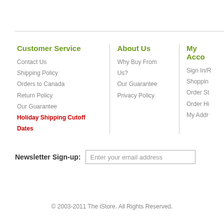Customer Service
Contact Us
Shipping Policy
Orders to Canada
Return Policy
Our Guarantee
Holiday Shipping Cutoff Dates
About Us
Why Buy From Us?
Our Guarantee
Privacy Policy
My Acco
Sign In/R
Shoppin
Order St
Order Hi
My Addr
Newsletter Sign-up:
© 2003-2011 The iStore. All Rights Reserved.